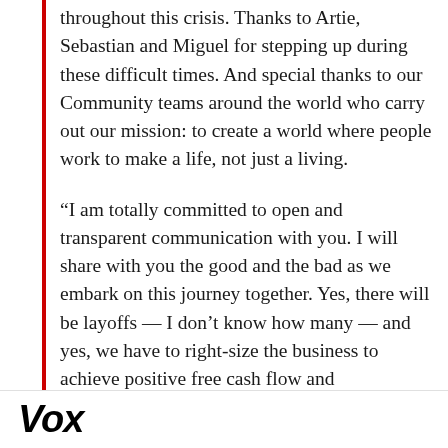throughout this crisis. Thanks to Artie, Sebastian and Miguel for stepping up during these difficult times. And special thanks to our Community teams around the world who carry out our mission: to create a world where people work to make a life, not just a living.
“I am totally committed to open and transparent communication with you. I will share with you the good and the bad as we embark on this journey together. Yes, there will be layoffs — I don’t know how many — and yes, we have to right-size the business to achieve positive free cash flow and profitability. But I will promise you that those that leave us will be treated with
[Figure (logo): Vox media logo in bold italic black text at the bottom left]